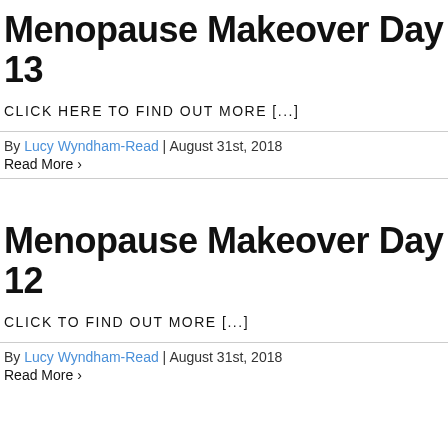Menopause Makeover Day 13
CLICK HERE TO FIND OUT MORE [...]
By Lucy Wyndham-Read | August 31st, 2018
Read More >
Menopause Makeover Day 12
CLICK TO FIND OUT MORE [...]
By Lucy Wyndham-Read | August 31st, 2018
Read More >